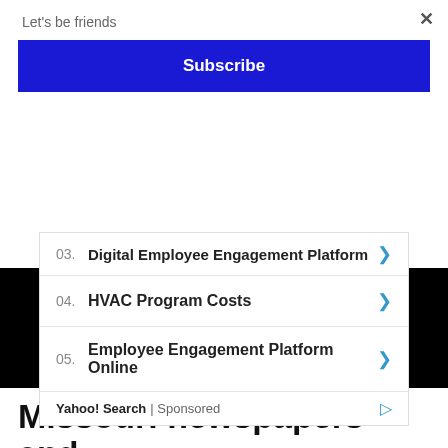Let's be friends
×
Subscribe
03. Digital Employee Engagement Platform
04. HVAC Program Costs
05. Employee Engagement Platform Online
Yahoo! Search | Sponsored
Missouri newspapers and